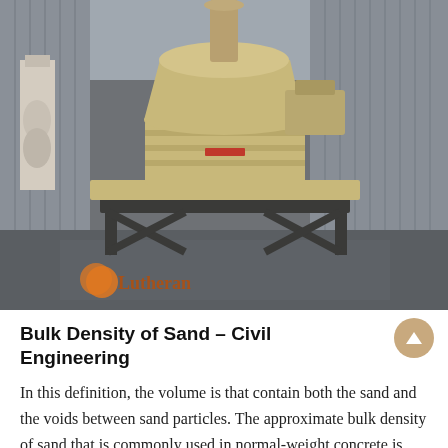[Figure (photo): Industrial sand crusher / cone crusher machine (tan/beige colored) on a factory floor inside a large warehouse with corrugated metal walls. A watermark reads 'Lutheran' with an orange circle logo in the bottom-left corner.]
Bulk Density of Sand – Civil Engineering
In this definition, the volume is that contain both the sand and the voids between sand particles. The approximate bulk density of sand that is commonly used in normal-weight concrete is between 1520-1680 kg/m3 (95-105